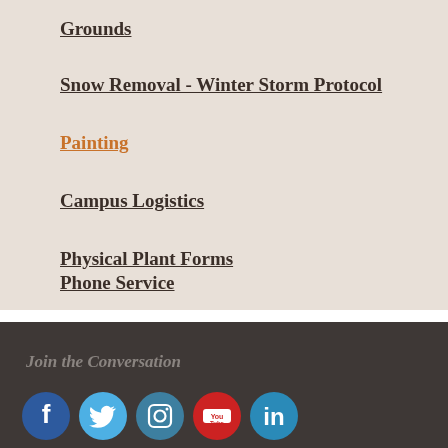Grounds
Snow Removal - Winter Storm Protocol
Painting
Campus Logistics
Physical Plant Forms
Phone Service
Join the Conversation
[Figure (infographic): Social media icons: Facebook, Twitter, Instagram, YouTube, LinkedIn]